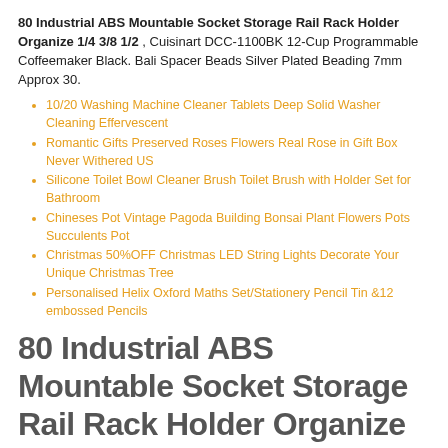80 Industrial ABS Mountable Socket Storage Rail Rack Holder Organize 1/4 3/8 1/2 , Cuisinart DCC-1100BK 12-Cup Programmable Coffeemaker Black. Bali Spacer Beads Silver Plated Beading 7mm Approx 30.
10/20 Washing Machine Cleaner Tablets Deep Solid Washer Cleaning Effervescent
Romantic Gifts Preserved Roses Flowers Real Rose in Gift Box Never Withered US
Silicone Toilet Bowl Cleaner Brush Toilet Brush with Holder Set for Bathroom
Chineses Pot Vintage Pagoda Building Bonsai Plant Flowers Pots Succulents Pot
Christmas 50%OFF Christmas LED String Lights Decorate Your Unique Christmas Tree
Personalised Helix Oxford Maths Set/Stationery Pencil Tin &12 embossed Pencils
80 Industrial ABS Mountable Socket Storage Rail Rack Holder Organize 1/4 3/8 1/2